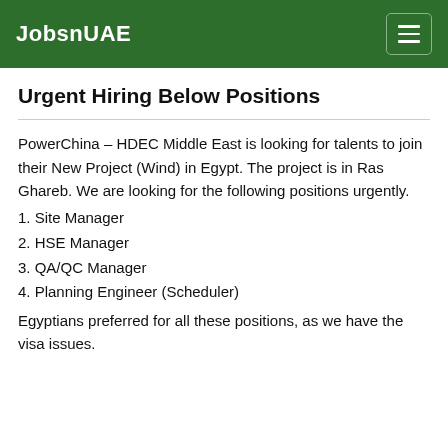JobsnUAE
Urgent Hiring Below Positions
PowerChina – HDEC Middle East is looking for talents to join their New Project (Wind) in Egypt. The project is in Ras Ghareb. We are looking for the following positions urgently.
1. Site Manager
2. HSE Manager
3. QA/QC Manager
4. Planning Engineer (Scheduler)
Egyptians preferred for all these positions, as we have the visa issues.